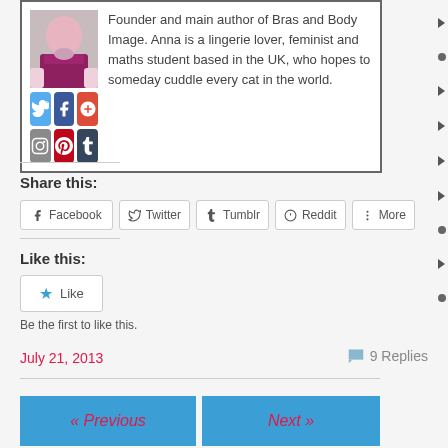Founder and main author of Bras and Body Image. Anna is a lingerie lover, feminist and maths student based in the UK, who hopes to someday cuddle every cat in the world.
[Figure (illustration): Author photo with social media icon buttons (Twitter, Facebook, Google+, Instagram, Pinterest, Tumblr)]
Share this:
Facebook  Twitter  Tumblr  Reddit  More
Like this:
Like
Be the first to like this.
July 21, 2013
9 Replies
« Previous
Next »